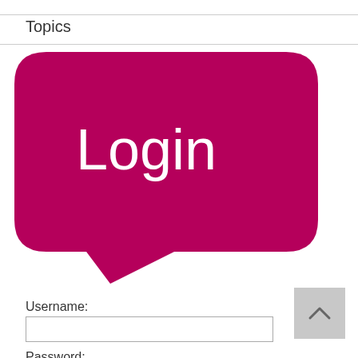Topics
[Figure (illustration): Pink/magenta speech bubble with rounded rectangle body and a downward-pointing tail at the bottom-left. The bubble contains the word 'Login' in large white thin-weight text.]
Username:
Password: